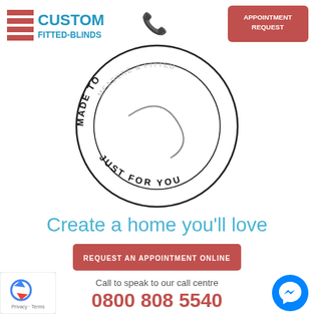[Figure (logo): Custom Fitted-Blinds logo with red horizontal stripes and blue text]
[Figure (other): Blue telephone/phone icon]
[Figure (other): Circular stamp graphic with text MADE TO MEASURE & FITTED JUST FOR YOU with a swoosh inside]
[Figure (other): Red rounded rectangle button: APPOINTMENT REQUEST]
Create a home you'll love
[Figure (other): Red button: REQUEST AN APPOINTMENT ONLINE]
Call to speak to our call centre
0800 808 5540
[Figure (other): Google reCAPTCHA badge with Privacy - Terms]
[Figure (other): Blue circular Facebook Messenger icon]